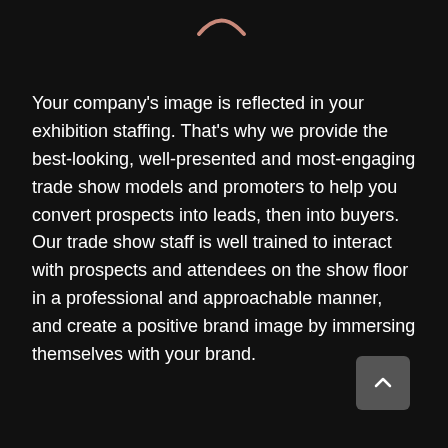[Figure (logo): A stylized logo icon resembling an arched shape or eyebrows, rendered in a rose/salmon color, centered at the top of the page.]
Your company's image is reflected in your exhibition staffing. That's why we provide the best-looking, well-presented and most-engaging trade show models and promoters to help you convert prospects into leads, then into buyers. Our trade show staff is well trained to interact with prospects and attendees on the show floor in a professional and approachable manner, and create a positive brand image by immersing themselves with your brand.
[Figure (other): A small dark rounded-square button with a white upward-pointing chevron arrow, located at the bottom right of the page.]